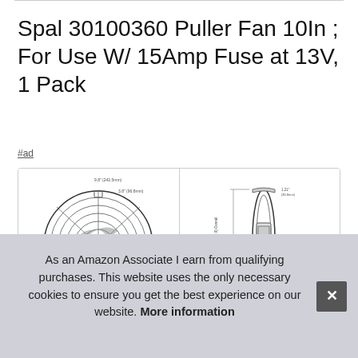Spal 30100360 Puller Fan 10In ; For Use W/ 15Amp Fuse at 13V, 1 Pack
#ad
[Figure (engineering-diagram): Two engineering schematic diagrams of a Spal Puller Fan 10In, showing front view with circular fan blade assembly and side profile view with dimensions labeled]
Spal manufacturer in H
As an Amazon Associate I earn from qualifying purchases. This website uses the only necessary cookies to ensure you get the best experience on our website. More information